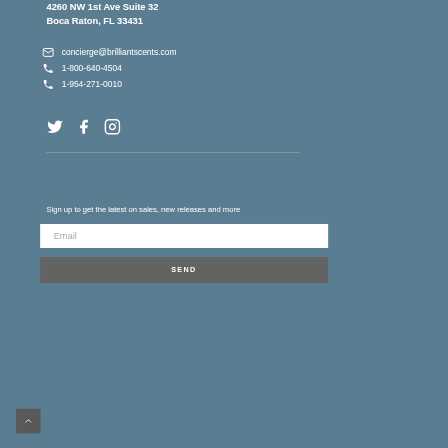4260 NW 1st Ave Suite 32
Boca Raton, FL 33431
concierge@brilliantscents.com
1-800-640-4504
1-954-271-0010
[Figure (infographic): Social media icons: Twitter bird, Facebook f, Instagram camera outline]
Sign up to get the latest on sales, new releases and more
Email
SEND